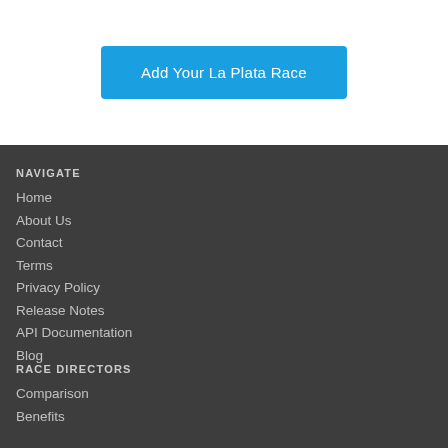[Figure (other): Blue button labeled 'Add Your La Plata Race']
NAVIGATE
Home
About Us
Contact
Terms
Privacy Policy
Release Notes
API Documentation
Blog
RACE DIRECTORS
Comparison
Benefits